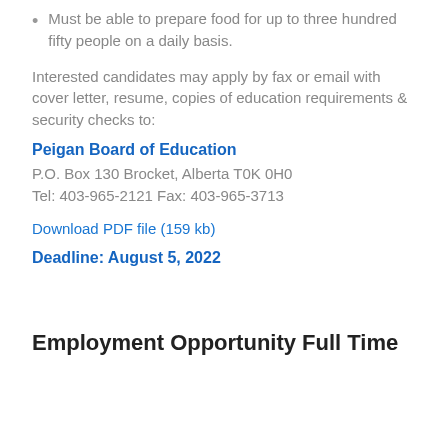Must be able to prepare food for up to three hundred fifty people on a daily basis.
Interested candidates may apply by fax or email with cover letter, resume, copies of education requirements & security checks to:
Peigan Board of Education
P.O. Box 130 Brocket, Alberta T0K 0H0
Tel: 403-965-2121 Fax: 403-965-3713
Download PDF file (159 kb)
Deadline: August 5, 2022
Employment Opportunity Full Time